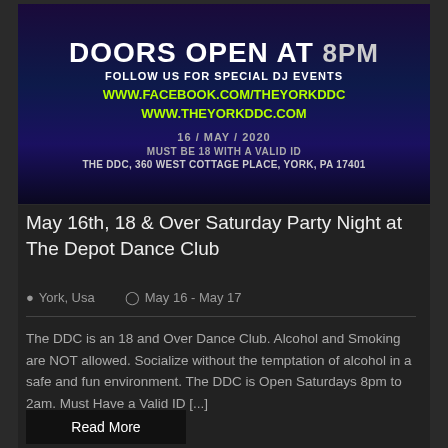[Figure (photo): Event banner for The Depot Dance Club showing dark purple/blue background with event text: DOORS OPEN AT 8PM, FOLLOW US FOR SPECIAL DJ EVENTS, www.facebook.com/theyorkddc, www.theyorkddc.com, 16/MAY/2020, MUST BE 18 WITH A VALID ID, THE DDC, 360 WEST COTTAGE PLACE, YORK, PA 17401]
May 16th, 18 & Over Saturday Party Night at The Depot Dance Club
York, Usa   May 16 - May 17
The DDC is an 18 and Over Dance Club. Alcohol and Smoking are NOT allowed. Socialize without the temptation of alcohol in a safe and fun environment. The DDC is Open Saturdays 8pm to 2am. Must Have a Valid ID [...]
Read More